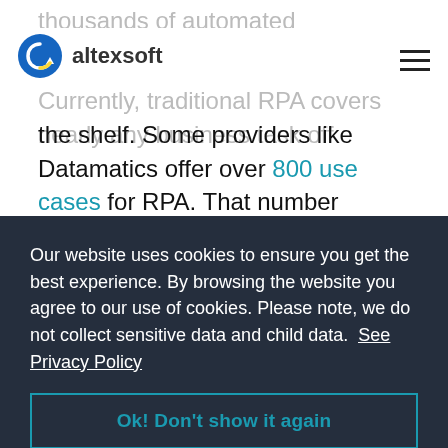altexsoft
thousands of automated processes.
Currently, traditional RPA covers nearly any business task off the shelf. Some providers like Datamatics offer over 800 use cases for RPA. That number indicates that the solutions market is mature and probably has a bot for your business case.
However, there are lots of limitations for this approach, as traditional RPA software can't handle, say, human speech or
Our website uses cookies to ensure you get the best experience. By browsing the website you agree to our use of cookies. Please note, we do not collect sensitive data and child data.  See Privacy Policy
Ok! Don't show it again